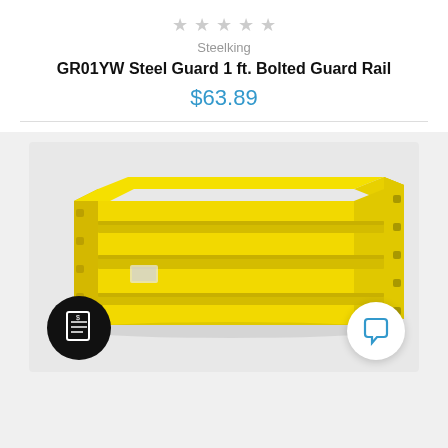★ ★ ★ ★ ★
Steelking
GR01YW Steel Guard 1 ft. Bolted Guard Rail
$63.89
[Figure (photo): Yellow steel bolted guard rail, a horizontal barrier with three horizontal rails and end plates with bolt holes, shown in 3/4 perspective view on a light grey background.]